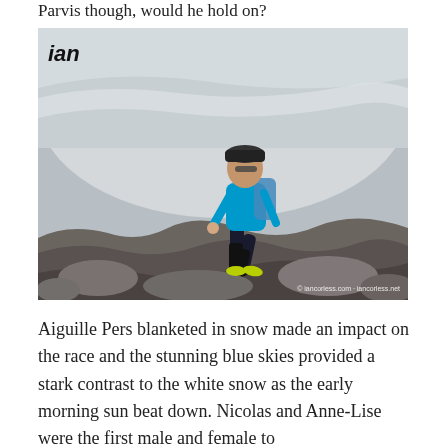Parvis though, would he hold on?
[Figure (photo): A male trail runner in blue shirt, dark shorts, black compression socks, cap and backpack, running over rocky terrain with a snow-covered glacier (Aiguille Pers) in the background. The word 'ian' appears in bold italic in the upper-left corner of the photo. Photo credit visible in lower right.]
Aiguille Pers blanketed in snow made an impact on the race and the stunning blue skies provided a stark contrast to the white snow as the early morning sun beat down. Nicolas and Anne-Lise were the first male and female to